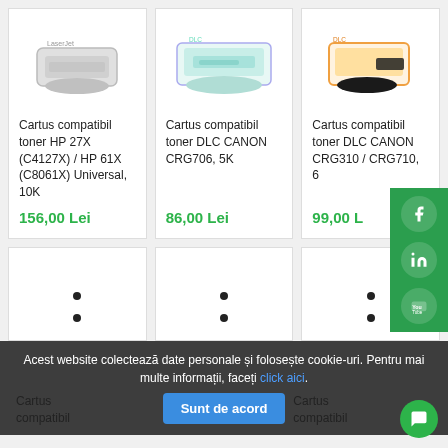[Figure (screenshot): E-commerce product listing page showing toner cartridge products with prices in Lei, social media sidebar, cookie consent bar, and chat bubble.]
Cartus compatibil toner HP 27X (C4127X) / HP 61X (C8061X) Universal, 10K
156,00 Lei
Cartus compatibil toner DLC CANON CRG706, 5K
86,00 Lei
Cartus compatibil toner DLC CANON CRG310 / CRG710, 6
99,00 L
Acest website colectează date personale și folosește cookie-uri. Pentru mai multe informații, faceți click aici.
Sunt de acord
Cartus compatibil
Cartus compatibil
Cartus compatibil